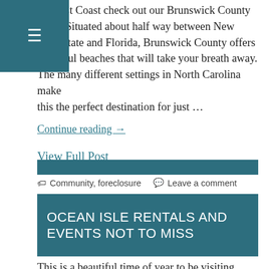the East Coast check out our Brunswick County sures. Situated about half way between New York State and Florida, Brunswick County offers beautiful beaches that will take your breath away. The many different settings in North Carolina make this the perfect destination for just …
Continue reading →
View Full Post
🏷 Community, foreclosure 💬 Leave a comment
OCEAN ISLE RENTALS AND EVENTS NOT TO MISS
This is a beautiful time of year to be visiting North Carolina. With autumn comes cooler temperatures,